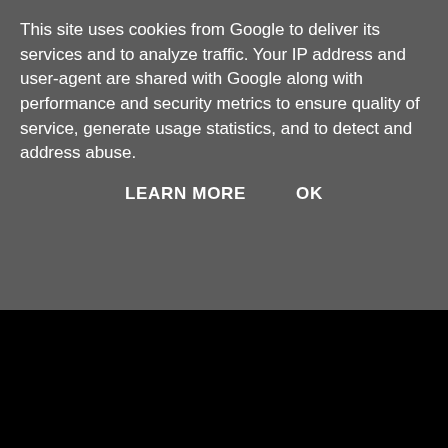This site uses cookies from Google to deliver its services and to analyze traffic. Your IP address and user-agent are shared with Google along with performance and security metrics to ensure quality of service, generate usage statistics, and to detect and address abuse.
LEARN MORE    OK
Tor (2) Cracker Stone (2) Cramber Tor (1) Creason Wood Tor (1) Creber's Rock (1) Crip Tor (Ringwood) (1) Crip Tor (Tithe Map) (1) Cripdon Down North Tor (1) Cripdon Down South Tor (1) Crockern Tor (1) Croft Tor (1) Crow Tor (2) Cuckoo Rock (1) Curtery Clitters (1) Cut Hill (1) Cut Hill Outcrop (1) Deancombe Rocks (1) Devil's Tor (1) Dewerstone Hill (1) Dewerstone Rock (1) Dewerstone West (1) Dickford Bridge Tor (1) Dinger Tor (3) Doccombe Rock (1) Doe Tor (1) Dog Marsh North Tor
[Figure (photo): Close-up photograph of green vegetation/shrubs]
But this time we weren't going was difficult enough to open, le the treeline to the 'corner', ther